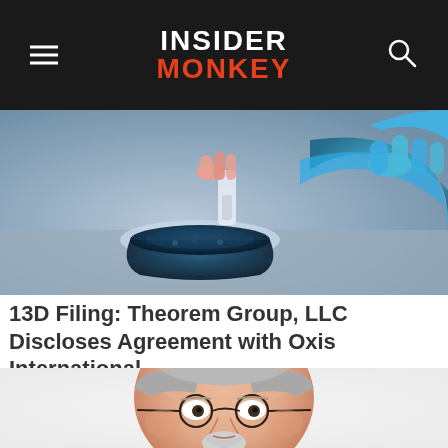INSIDER MONKEY
[Figure (photo): Close-up of laboratory glassware with blue liquid being handled by a gloved hand, suggesting scientific/biotech research setting]
13D Filing: Theorem Group, LLC Discloses Agreement with Oxis International...
[Figure (illustration): Digital illustration portrait of an older man with round glasses, grey hair, and a goatee, looking upward with a serious expression — styled as a financial/investment themed character illustration]